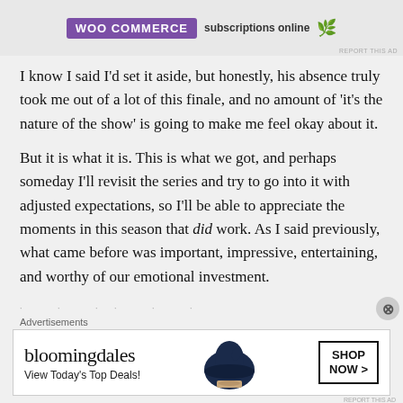[Figure (other): WooCommerce advertisement banner at top of page with purple logo and text about subscriptions online, with a teal leaf icon and 'REPORT THIS AD' label]
I know I said I'd set it aside, but honestly, his absence truly took me out of a lot of this finale, and no amount of 'it's the nature of the show' is going to make me feel okay about it.
But it is what it is. This is what we got, and perhaps someday I'll revisit the series and try to go into it with adjusted expectations, so I'll be able to appreciate the moments in this season that did work. As I said previously, what came before was important, impressive, entertaining, and worthy of our emotional investment.
[Figure (other): Bloomingdales advertisement banner showing logo, 'View Today's Top Deals!' text, a woman wearing a large dark hat, and a 'SHOP NOW >' button]